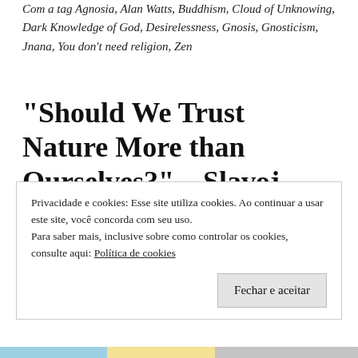Com a tag Agnosia, Alan Watts, Buddhism, Cloud of Unknowing, Dark Knowledge of God, Desirelessness, Gnosis, Gnosticism, Jnana, You don't need religion, Zen
“Should We Trust Nature More than Ourselves?” – Slavoj Žižk & Yuval Noah Harari
Privacidade e cookies: Esse site utiliza cookies. Ao continuar a usar este site, você concorda com seu uso.
Para saber mais, inclusive sobre como controlar os cookies, consulte aqui: Política de cookies
Fechar e aceitar